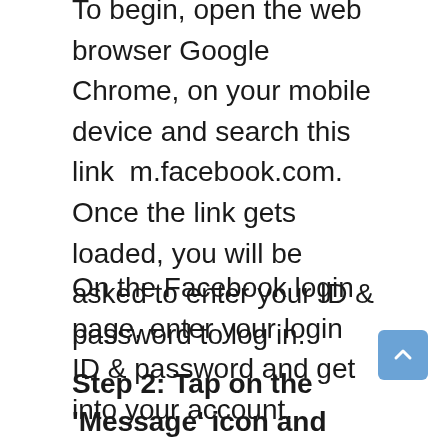To begin, open the web browser Google Chrome, on your mobile device and search this link  m.facebook.com. Once the link gets loaded, you will be asked to enter your ID & password to log in.
On the Facebook login page, enter your login ID & password and get into your account.
Step 2: Tap on the 'Message' icon and open the audio message